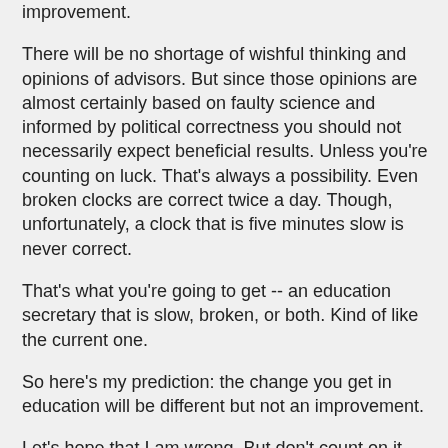improvement.
There will be no shortage of wishful thinking and opinions of advisors. But since those opinions are almost certainly based on faulty science and informed by political correctness you should not necessarily expect beneficial results. Unless you're counting on luck. That's always a possibility. Even broken clocks are correct twice a day. Though, unfortunately, a clock that is five minutes slow is never correct.
That's what you're going to get -- an education secretary that is slow, broken, or both. Kind of like the current one.
So here's my prediction: the change you get in education will be different but not an improvement.
Let's hope that I am wrong. But don't count on it.
KDeRosa at 10:26 AM
20 comments: